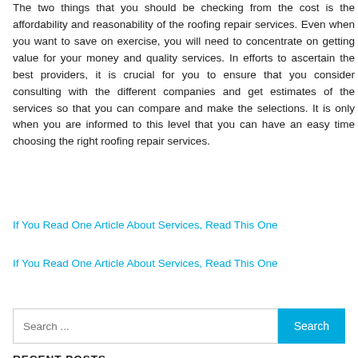The two things that you should be checking from the cost is the affordability and reasonability of the roofing repair services. Even when you want to save on exercise, you will need to concentrate on getting value for your money and quality services. In efforts to ascertain the best providers, it is crucial for you to ensure that you consider consulting with the different companies and get estimates of the services so that you can compare and make the selections. It is only when you are informed to this level that you can have an easy time choosing the right roofing repair services.
If You Read One Article About Services, Read This One
If You Read One Article About Services, Read This One
Search ...
RECENT POSTS